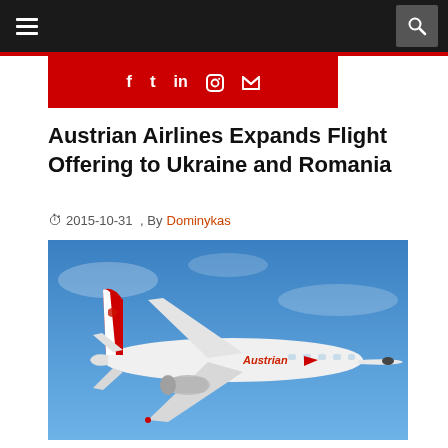Navigation bar with hamburger menu and search button
[Figure (screenshot): Red social media bar with icons for Facebook, Twitter, LinkedIn, Instagram, and RSS feed]
Austrian Airlines Expands Flight Offering to Ukraine and Romania
2015-10-31 , By Dominykas
[Figure (photo): Austrian Airlines aircraft in flight against blue sky, white livery with red Austrian logo on tail]